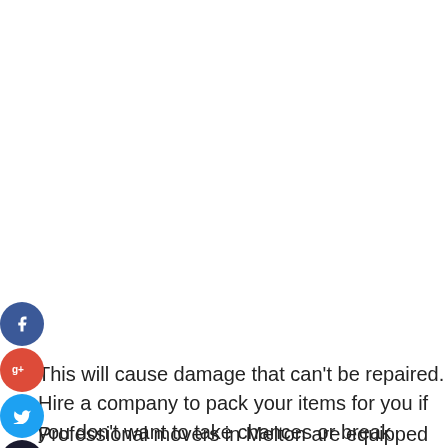[Figure (infographic): Social media sharing buttons: Facebook (blue circle with 'f'), Google+ (red circle with 'g+'), Twitter (blue circle with bird icon), Add/More (dark circle with '+' icon), arranged vertically on the left side of the page.]
This will cause damage that can't be repaired. Hire a company to pack your items for you if you don't want to take chances or break anything.
Professional movers in Melton are equipped with the right tools